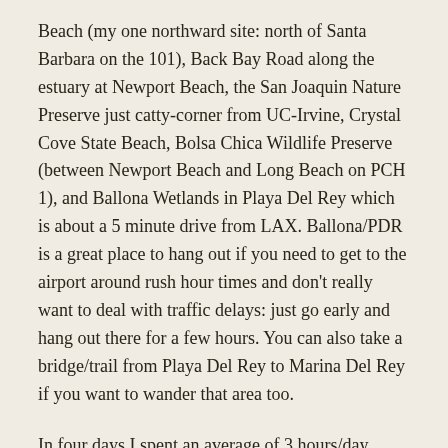Beach (my one northward site: north of Santa Barbara on the 101), Back Bay Road along the estuary at Newport Beach, the San Joaquin Nature Preserve just catty-corner from UC-Irvine, Crystal Cove State Beach, Bolsa Chica Wildlife Preserve (between Newport Beach and Long Beach on PCH 1), and Ballona Wetlands in Playa Del Rey which is about a 5 minute drive from LAX. Ballona/PDR is a great place to hang out if you need to get to the airport around rush hour times and don't really want to deal with traffic delays: just go early and hang out there for a few hours. You can also take a bridge/trail from Playa Del Rey to Marina Del Rey if you want to wander that area too.
In four days I spent an average of 3 hours/day birding. And I identified a total of 79 bird species (clapper rail by ear, never saw it) of which 8 of those were life list for me. The lifers were blue-grey gnatcatcher, Allen's hummingbird, nutmeg mannikin, clapper rail (heard only), Virginia rail, sora, blue-winged teal,